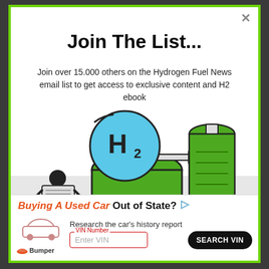Join The List...
Join over 15.000 others on the Hydrogen Fuel News email list to get access to exclusive content and H2 ebook
[Figure (illustration): Illustration of hydrogen fuel equipment: H2 molecule symbol in blue circle with green hydrogen storage tanks and person reading newspaper]
Buying A Used Car Out of State? Research the car's history report VIN Number Enter VIN SEARCH VIN Bumper